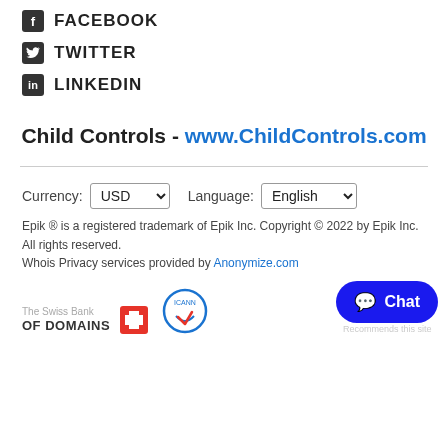FACEBOOK
TWITTER
LINKEDIN
Child Controls - www.ChildControls.com
Currency: USD   Language: English
Epik ® is a registered trademark of Epik Inc. Copyright © 2022 by Epik Inc. All rights reserved.
Whois Privacy services provided by Anonymize.com
[Figure (logo): The Swiss Bank OF DOMAINS logo with Swiss cross icon and ICANN badge]
[Figure (other): Blue Chat button with speech bubble icon and 'Recommends this site' text below]